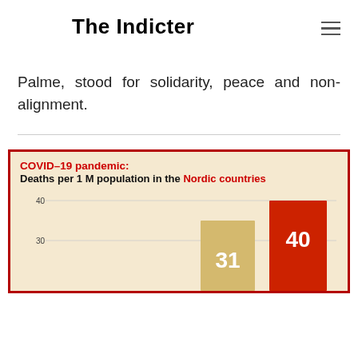The Indicter
Palme, stood for solidarity, peace and non-alignment.
[Figure (bar-chart): COVID–19 pandemic: Deaths per 1 M population in the Nordic countries]